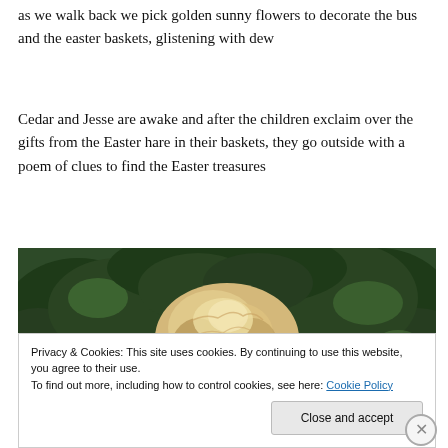as we walk back we pick golden sunny flowers to decorate the bus and the easter baskets, glistening with dew
Cedar and Jesse are awake and after the children exclaim over the gifts from the Easter hare in their baskets, they go outside with a poem of clues to find the Easter treasures
[Figure (photo): Photo of a blonde child outdoors among green foliage/bushes, shot from behind/above showing the top and back of the child's head]
Privacy & Cookies: This site uses cookies. By continuing to use this website, you agree to their use.
To find out more, including how to control cookies, see here: Cookie Policy
Close and accept